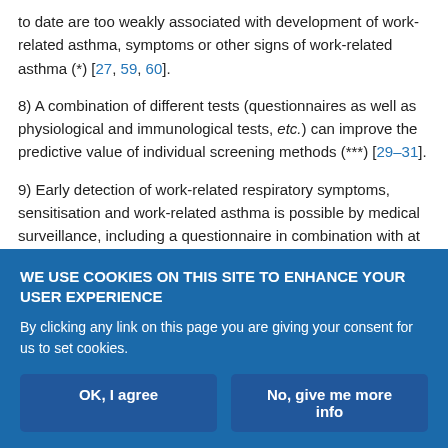to date are too weakly associated with development of work-related asthma, symptoms or other signs of work-related asthma (*) [27, 59, 60].
8) A combination of different tests (questionnaires as well as physiological and immunological tests, etc.) can improve the predictive value of individual screening methods (***) [29–31].
9) Early detection of work-related respiratory symptoms, sensitisation and work-related asthma is possible by medical surveillance, including a questionnaire in combination with at least one of the following options: detection of specific sensitisation, NSBHR testing,
WE USE COOKIES ON THIS SITE TO ENHANCE YOUR USER EXPERIENCE
By clicking any link on this page you are giving your consent for us to set cookies.